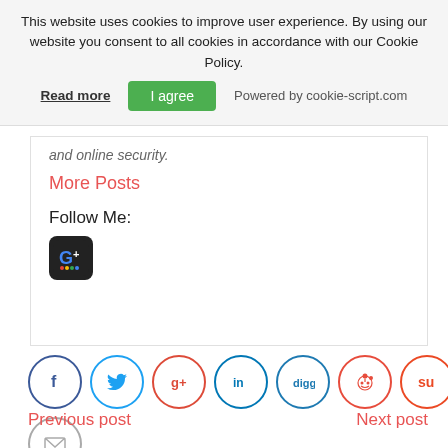This website uses cookies to improve user experience. By using our website you consent to all cookies in accordance with our Cookie Policy.
Read more   I agree   Powered by cookie-script.com
and online security.
More Posts
Follow Me:
[Figure (logo): Google Plus icon - dark square with rounded corners and G+ logo]
[Figure (infographic): Social sharing icons row: Facebook, Twitter, Google+, LinkedIn, Digg, Reddit, StumbleUpon circles, plus email circle below]
Previous post
Next post